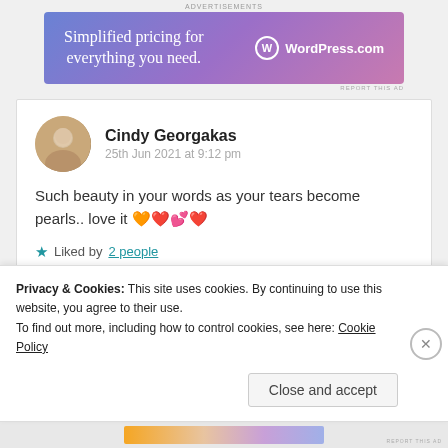[Figure (other): WordPress.com advertisement banner with text 'Simplified pricing for everything you need.']
Cindy Georgakas
25th Jun 2021 at 9:12 pm
Such beauty in your words as your tears become pearls.. love it 🧡❤️💕❤️
Liked by 2 people
Privacy & Cookies: This site uses cookies. By continuing to use this website, you agree to their use.
To find out more, including how to control cookies, see here: Cookie Policy